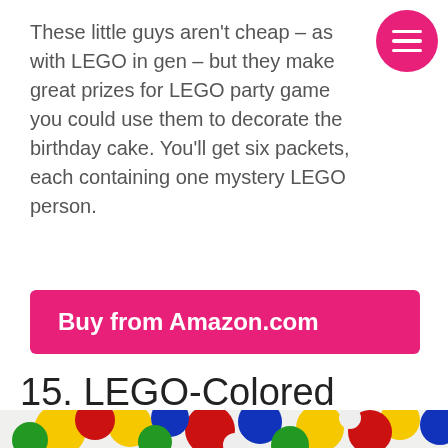These little guys aren't cheap – as with LEGO in gen – but they make great prizes for LEGO party game you could use them to decorate the birthday cake. You'll get six packets, each containing one mystery LEGO person.
Buy from Amazon.com
15. LEGO-Colored Balloons
[Figure (photo): A colorful arrangement of LEGO-colored balloons in red, yellow, blue, green, and white, clustered together as a balloon garland on a light background.]